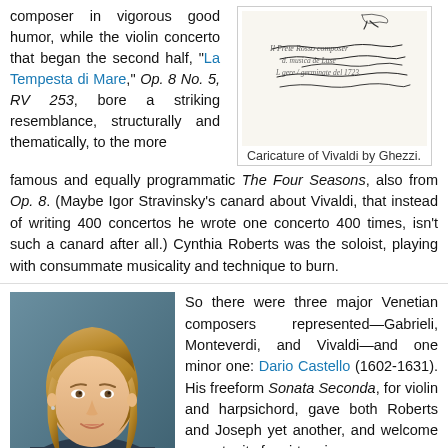composer in vigorous good humor, while the violin concerto that began the second half, "La Tempesta di Mare," Op. 8 No. 5, RV 253, bore a striking resemblance, structurally and thematically, to the more famous and equally programmatic The Four Seasons, also from Op. 8. (Maybe Igor Stravinsky's canard about Vivaldi, that instead of writing 400 concertos he wrote one concerto 400 times, isn't such a canard after all.) Cynthia Roberts was the soloist, playing with consummate musicality and technique to burn.
[Figure (illustration): Caricature of Vivaldi by Ghezzi — a hand-drawn sketch showing a figure with musical notation text.]
Caricature of Vivaldi by Ghezzi.
[Figure (photo): Portrait photograph of a young woman with blonde hair, facing slightly left, smiling.]
So there were three major Venetian composers represented—Gabrieli, Monteverdi, and Vivaldi—and one minor one: Dario Castello (1602-1631). His freeform Sonata Seconda, for violin and harpsichord, gave both Roberts and Joseph yet another, and welcome opportunity for virtuosic